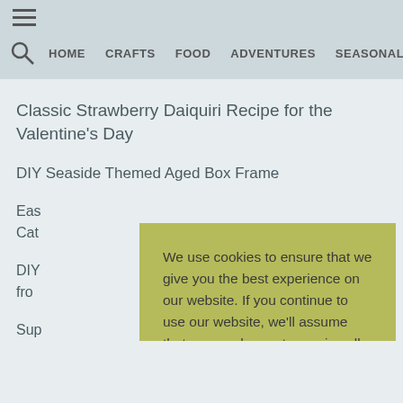≡  HOME  CRAFTS  FOOD  ADVENTURES  SEASONAL  STORE
Classic Strawberry Daiquiri Recipe for the Valentine's Day
DIY Seaside Themed Aged Box Frame
Eas... Cat...
DIY... from...
Sup...
We use cookies to ensure that we give you the best experience on our website. If you continue to use our website, we'll assume that you are happy to receive all cookies from this website.
CLOSE